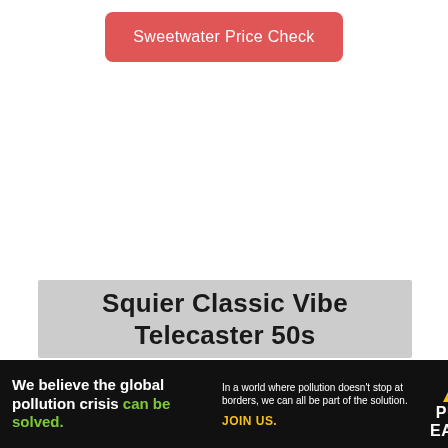[Figure (other): Red rounded button labeled 'Sweetwater Price Check']
[Figure (other): Gray block containing bold text 'Squier Classic Vibe Telecaster 50s' (partially visible)]
[Figure (other): Dark advertisement banner for Pure Earth organization with text about global pollution crisis]